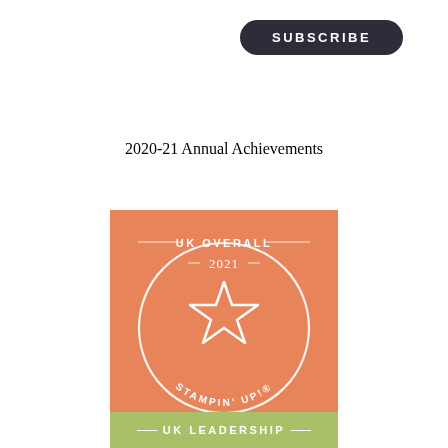[Figure (other): Dark rounded rectangle button with text SUBSCRIBE in white uppercase letters]
2020-21 Annual Achievements
[Figure (logo): Orange square badge with circular border, star in center, text UK OVERALL at top, 2021 below that, and STAMPIN' UP! at the bottom]
[Figure (other): Green/sage colored bar with text UK LEADERSHIP in white uppercase letters with decorative lines on either side]